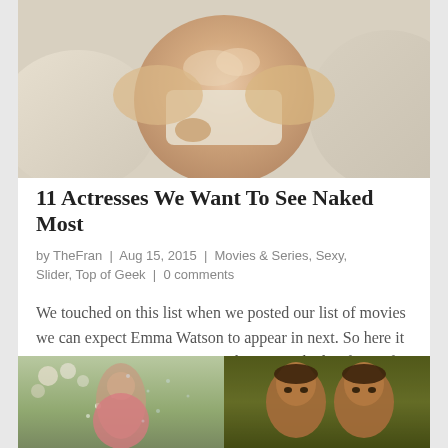[Figure (photo): Partial view of a woman in a strapless top or towel, reclining against white pillows]
11 Actresses We Want To See Naked Most
by TheFran | Aug 15, 2015 | Movies & Series, Sexy, Slider, Top of Geek | 0 comments
We touched on this list when we posted our list of movies we can expect Emma Watson to appear in next. So here it is... Some actresses are OK with going naked in front of the camera and others are not. Although going nude should arguably be mandatory by age 25,...
[Figure (photo): Two photos side by side: left shows a woman in a pink dress outdoors with flowers; right shows two dark-haired women against a green background]